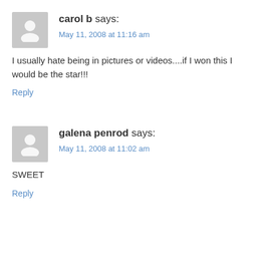carol b says:
May 11, 2008 at 11:16 am
I usually hate being in pictures or videos....if I won this I would be the star!!!
Reply
galena penrod says:
May 11, 2008 at 11:02 am
SWEET
Reply